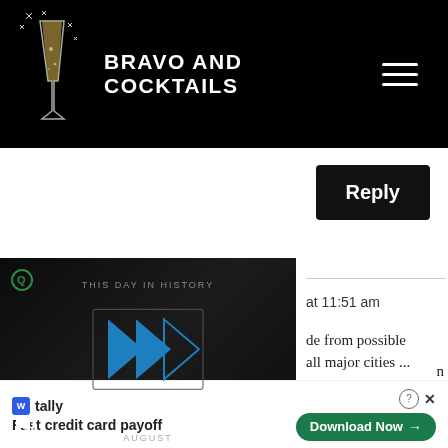BRAVO AND COCKTAILS
Reply
[Figure (screenshot): Video player showing 'This Day in History' with blue play button icons on dark background, mute icon in bottom left, and 'August' label at bottom]
at 11:51 am
de from possible all major cities ...
[Figure (other): Tally advertisement banner: 'Fast credit card payoff' with Download Now button and close controls]